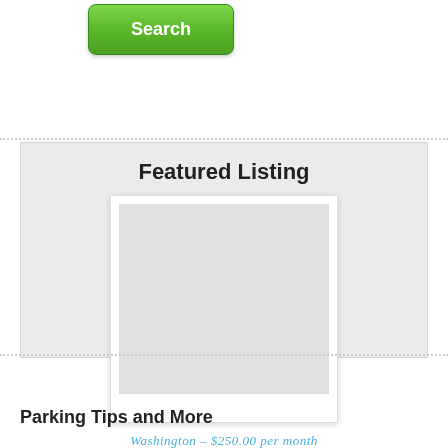[Figure (screenshot): Green Search button with rounded corners and gradient background]
Featured Listing
[Figure (photo): Placeholder photo frame (white polaroid-style frame with light gray image area)]
Washington – $250.00 per month
Parking Tips and More